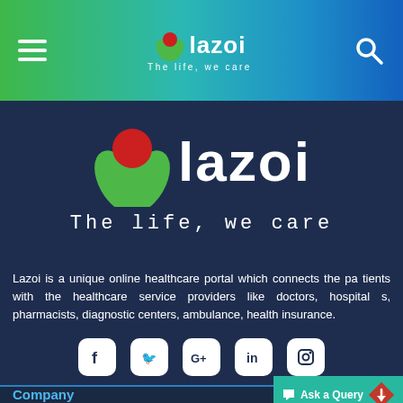[Figure (logo): Lazoi navigation bar logo with hamburger menu on left, Lazoi flower logo and brand name in center, search icon on right, gradient green to blue background]
[Figure (logo): Lazoi main logo - large flower icon with red circle and green leaves, white bold 'lazoi' text, tagline 'The life, we care' on dark navy background]
Lazoi is a unique online healthcare portal which connects the patients with the healthcare service providers like doctors, hospitals, pharmacists, diagnostic centers, ambulance, health insurance.
[Figure (infographic): Social media icons row: Facebook, Twitter, Google+, LinkedIn, Instagram - white rounded square icons on dark navy background]
Company
[Figure (other): Ask a Query button in teal green with chat bubble icon and red diamond arrow icon]